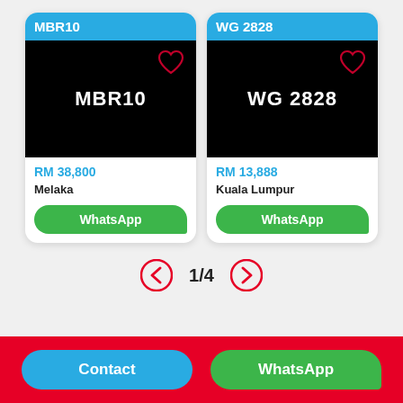[Figure (other): Card for license plate MBR10. Header: MBR10 on blue background. Black image area with white bold text MBR10 and red heart outline icon top right. Price: RM 38,800. Location: Melaka. WhatsApp green button.]
[Figure (other): Card for license plate WG 2828. Header: WG 2828 on blue background. Black image area with white bold text WG 2828 and red heart outline icon top right. Price: RM 13,888. Location: Kuala Lumpur. WhatsApp green button.]
1/4
Contact
WhatsApp